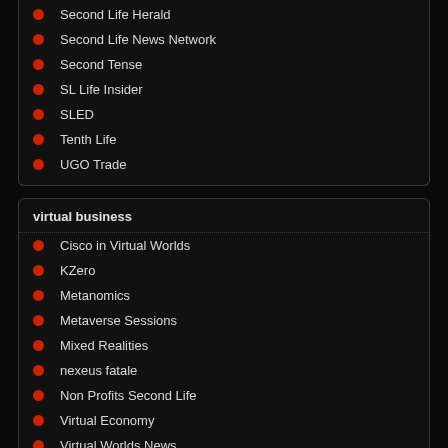Second Life Herald
Second Life News Network
Second Tense
SL Life Insider
SLED
Tenth Life
UGO Trade
virtual business
Cisco in Virtual Worlds
KZero
Metanomics
Metaverse Sessions
Mixed Realities
nexeus fatale
Non Profits Second Life
Virtual Economy
Virtual Worlds News
Worlds in Motion